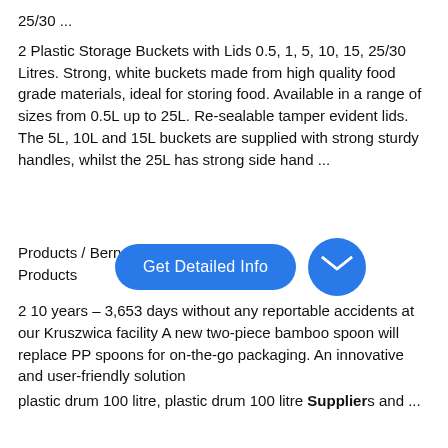25/30 ...
2 Plastic Storage Buckets with Lids 0.5, 1, 5, 10, 15, 25/30 Litres. Strong, white buckets made from high quality food grade materials, ideal for storing food. Available in a range of sizes from 0.5L up to 25L. Re-sealable tamper evident lids. The 5L, 10L and 15L buckets are supplied with strong sturdy handles, whilst the 25L has strong side hand ...
Products / Berry Su...ic...ging Products
2 10 years – 3,653 days without any reportable accidents at our Kruszwica facility A new two-piece bamboo spoon will replace PP spoons for on-the-go packaging. An innovative and user-friendly solution
plastic drum 100 litre, plastic drum 100 litre Suppliers and ...